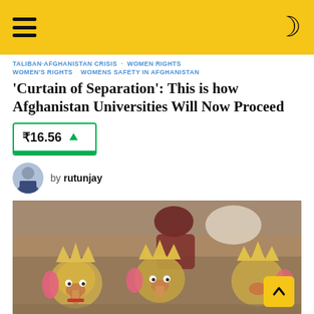Navigation header with hamburger menu and moon/dark-mode icon on yellow background
TALIBAN·AFGHANISTAN CRISIS · WOMEN RIGHTS WOMEN'S RIGHTS WOMENS SAFETY IN AFGHANISTAN
'Curtain of Separation': This is how Afghanistan Universities Will Now Proceed
₹16.56 ▲
by rutunjay
[Figure (photo): Photo of Ganesh idols/statues being worked on by an artisan, with golden crowns and colorful decorations visible]